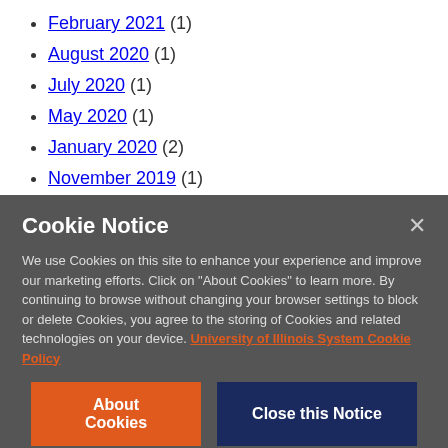February 2021 (1)
August 2020 (1)
July 2020 (1)
May 2020 (1)
January 2020 (2)
November 2019 (1)
Cookie Notice
We use Cookies on this site to enhance your experience and improve our marketing efforts. Click on "About Cookies" to learn more. By continuing to browse without changing your browser settings to block or delete Cookies, you agree to the storing of Cookies and related technologies on your device. University of Illinois System Cookie Policy
About Cookies | Close this Notice